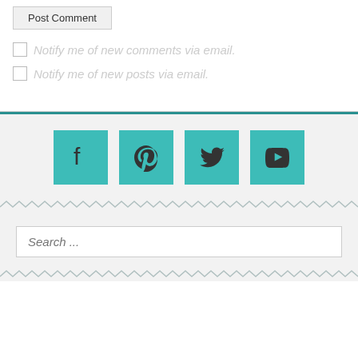Post Comment (button)
Notify me of new comments via email.
Notify me of new posts via email.
[Figure (other): Social media icon bar with Facebook, Pinterest, Twitter, and YouTube icons in teal squares]
Search ...